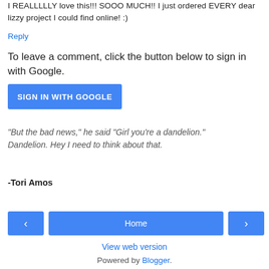I REALLLLLY love this!!! SOOO MUCH!! I just ordered EVERY dear lizzy project I could find online! :)
Reply
To leave a comment, click the button below to sign in with Google.
[Figure (other): Blue button labeled SIGN IN WITH GOOGLE]
"But the bad news," he said "Girl you're a dandelion." Dandelion. Hey I need to think about that.
-Tori Amos
[Figure (other): Navigation bar with left arrow button, Home button, and right arrow button]
View web version
Powered by Blogger.